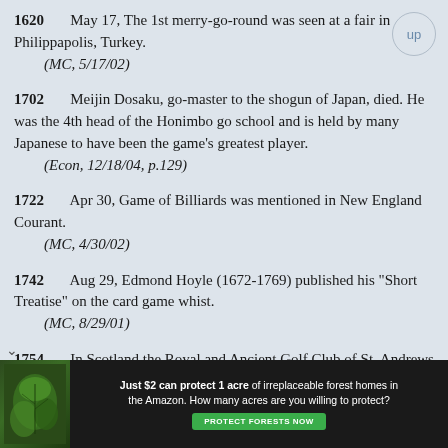1620    May 17, The 1st merry-go-round was seen at a fair in Philippapolis, Turkey.
    (MC, 5/17/02)
1702    Meijin Dosaku, go-master to the shogun of Japan, died. He was the 4th head of the Honimbo go school and is held by many Japanese to have been the game's greatest player.
    (Econ, 12/18/04, p.129)
1722    Apr 30, Game of Billiards was mentioned in New England Courant.
    (MC, 4/30/02)
1742    Aug 29, Edmond Hoyle (1672-1769) published his "Short Treatise" on the card game whist.
    (MC, 8/29/01)
1754    In Scotland the Royal and Ancient Golf Club of St. Andrews was founded.
    (Econ, 12/20/14, p.110)
[Figure (infographic): Advertisement banner: forest conservation charity ad with dark background, leaf photo on left, text 'Just $2 can protect 1 acre of irreplaceable forest homes in the Amazon. How many acres are you willing to protect?' and green 'PROTECT FORESTS NOW' button.]